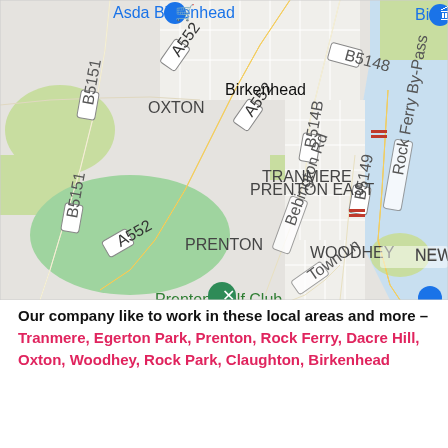[Figure (map): Google Maps screenshot showing Birkenhead area including neighbourhoods: Oxton, Tranmere, Prenton East, Prenton, Woodhey. Roads visible include A552, B5151, B5148, B5149, Bebington Rd, Rock Ferry By-Pass, Town Ln. Locations marked include Asda Birkenhead, Prenton Golf Club, and rail stations.]
Our company like to work in these local areas and more – Tranmere, Egerton Park, Prenton, Rock Ferry, Dacre Hill, Oxton, Woodhey, Rock Park, Claughton, Birkenhead